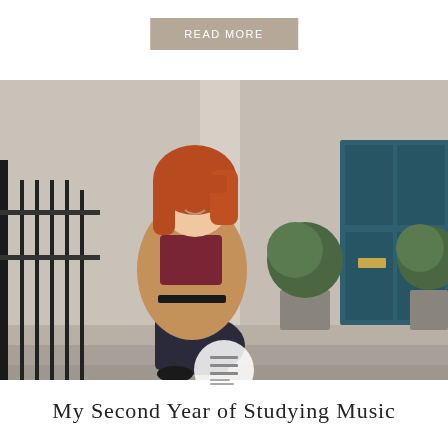READ MORE
[Figure (photo): Young woman with red hair wearing a camel blazer and burgundy top, sitting on stone steps in front of a teal/dark blue door with brass fixtures. Black iron railings and potted topiary trees visible in the background, suggesting an Edinburgh townhouse setting.]
[Figure (other): Hamburger/menu icon with three horizontal lines]
My Second Year of Studying Music